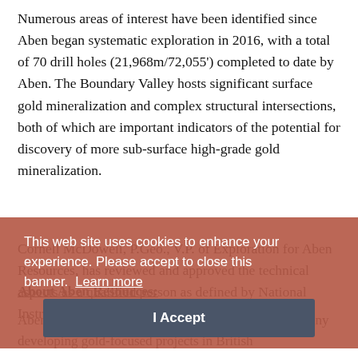Numerous areas of interest have been identified since Aben began systematic exploration in 2016, with a total of 70 drill holes (21,968m/72,055') completed to date by Aben. The Boundary Valley hosts significant surface gold mineralization and complex structural intersections, both of which are important indicators of the potential for discovery of more sub-surface high-grade gold mineralization.
Cornell McDowell, P.Geo., V.P. of Exploration for Aben Resources, has reviewed and approved the technical aspects as a qualified person as defined by National Instrument 43-101.
About Aben Resources:
Aben Resources is a Canadian gold exploration company developing gold-focused projects in British
This web site uses cookies to enhance your experience. Please accept to close this banner. Learn more